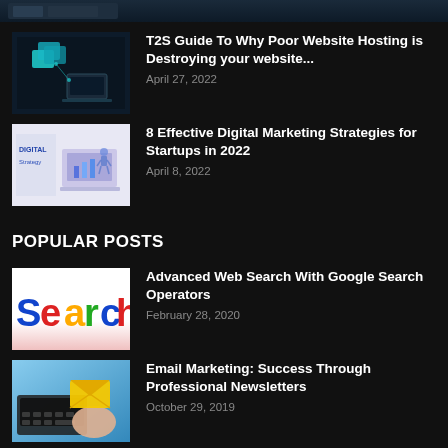[Figure (photo): Partial top image, dark background with some element cut off]
[Figure (photo): Thumbnail: dark tech image with teal 3D server/laptop icons on dark background]
T2S Guide To Why Poor Website Hosting is Destroying your website...
April 27, 2022
[Figure (photo): Thumbnail: Digital Strategy illustration with text 'DIGITAL Strategy' and laptop graphic on light purple background]
8 Effective Digital Marketing Strategies for Startups in 2022
April 8, 2022
POPULAR POSTS
[Figure (photo): Thumbnail: Colorful 'Search' text in 3D block letters on white/pink gradient background]
Advanced Web Search With Google Search Operators
February 28, 2020
[Figure (photo): Thumbnail: Hand holding envelope/email icon over laptop keyboard on blue background]
Email Marketing: Success Through Professional Newsletters
October 29, 2019